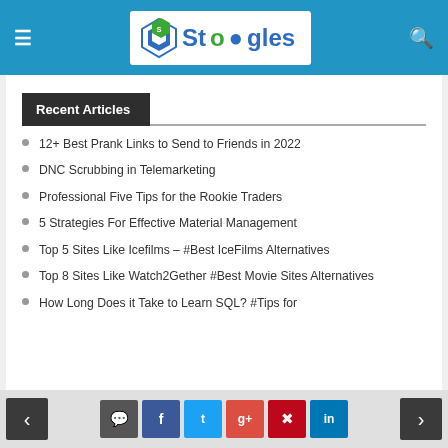Stoogles navigation header
Recent Articles
12+ Best Prank Links to Send to Friends in 2022
DNC Scrubbing in Telemarketing
Professional Five Tips for the Rookie Traders
5 Strategies For Effective Material Management
Top 5 Sites Like Icefilms – #Best IceFilms Alternatives
Top 8 Sites Like Watch2Gether #Best Movie Sites Alternatives
How Long Does it Take to Learn SQL? #Tips for
Navigation arrows and social sharing icons